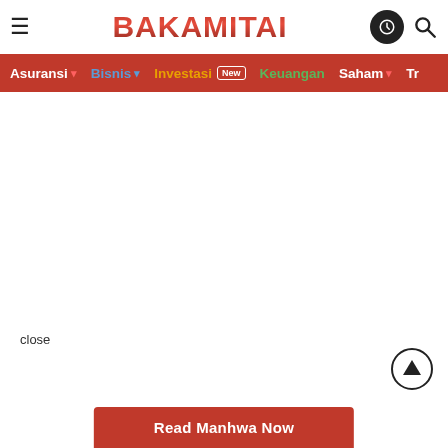BAKAMITAI — navigation header with logo, hamburger menu, dark mode icon, and search icon
Asuransi · Bisnis · Investasi New · Keuangan · Saham · Tr
close
[Figure (screenshot): Scroll-to-top circular button with upward arrow icon]
Read Manhwa Now